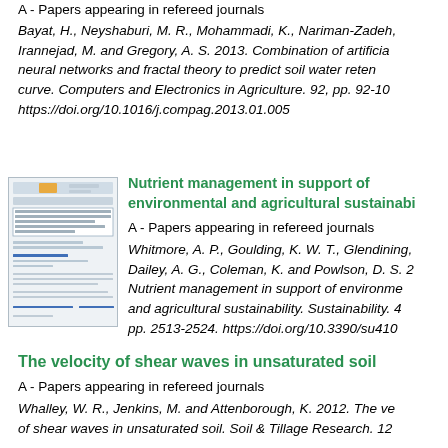A - Papers appearing in refereed journals
Bayat, H., Neyshaburi, M. R., Mohammadi, K., Nariman-Zadeh, Irannejad, M. and Gregory, A. S. 2013. Combination of artificial neural networks and fractal theory to predict soil water retention curve. Computers and Electronics in Agriculture. 92, pp. 92-10. https://doi.org/10.1016/j.compag.2013.01.005
[Figure (screenshot): Thumbnail preview of a document page showing publication repository overview]
Nutrient management in support of environmental and agricultural sustainability
A - Papers appearing in refereed journals
Whitmore, A. P., Goulding, K. W. T., Glendining, Dailey, A. G., Coleman, K. and Powlson, D. S. 2... Nutrient management in support of environmental and agricultural sustainability. Sustainability. 4 pp. 2513-2524. https://doi.org/10.3390/su410...
The velocity of shear waves in unsaturated soil
A - Papers appearing in refereed journals
Whalley, W. R., Jenkins, M. and Attenborough, K. 2012. The ve... of shear waves in unsaturated soil. Soil & Tillage Research. 12...